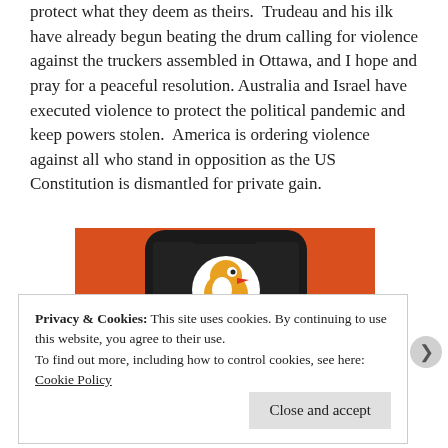protect what they deem as theirs. Trudeau and his ilk have already begun beating the drum calling for violence against the truckers assembled in Ottawa, and I hope and pray for a peaceful resolution. Australia and Israel have executed violence to protect the political pandemic and keep powers stolen. America is ordering violence against all who stand in opposition as the US Constitution is dismantled for private gain.
[Figure (screenshot): DuckDuckGo app icon displayed on a smartphone screen with an orange background. The phone shows a dark interface with the DuckDuckGo logo (white circle with duck icon).]
Privacy & Cookies: This site uses cookies. By continuing to use this website, you agree to their use.
To find out more, including how to control cookies, see here: Cookie Policy